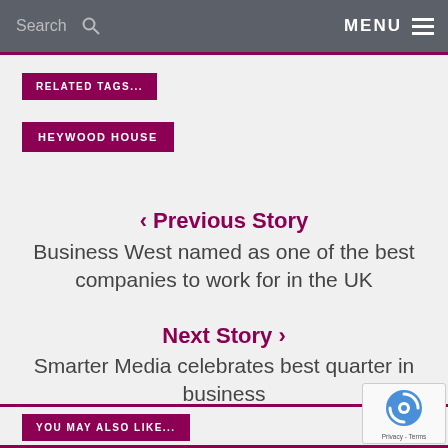Search | MENU
RELATED TAGS...
HEYWOOD HOUSE
< Previous Story
Business West named as one of the best companies to work for in the UK
Next Story >
Smarter Media celebrates best quarter in business
YOU MAY ALSO LIKE...